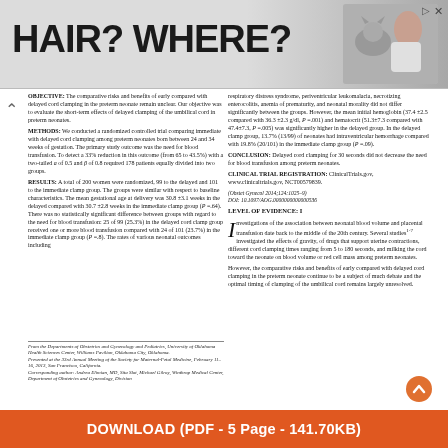[Figure (photo): Advertisement banner with text 'HAIR? WHERE?' and image of woman with cat on right side]
OBJECTIVE: The comparative risks and benefits of early compared with delayed cord clamping in the preterm neonate remain unclear. Our objective was to evaluate the short-term effects of delayed clamping of the umbilical cord in preterm neonates.
METHODS: We conducted a randomized controlled trial comparing immediate with delayed cord clamping among preterm neonates born between 24 and 34 weeks of gestation. The primary study outcome was the need for blood transfusion. To detect a 33% reduction in this outcome (from 65 to 43.5%) with a two-tailed a of 0.5 and β of 0.8 required 178 patients equally divided into two groups.
RESULTS: A total of 200 women were randomized, 99 to the delayed and 101 to the immediate clamp group. The groups were similar with respect to baseline characteristics. The mean gestational age at delivery was 30.8 ±3.1 weeks in the delayed compared with 30.7 ±2.8 weeks in the immediate clamp group (P =.64). There was no statistically significant difference between groups with regard to the need for blood transfusion: 25 of 99 (25.3%) in the delayed cord clamp group received one or more blood transfusion compared with 24 of 101 (23.7%) in the immediate clamp group (P =.8). The rates of various neonatal outcomes including
respiratory distress syndrome, periventricular leukomalacia, necrotizing enterocolitis, anemia of prematurity, and neonatal morality did not differ significantly between the groups. However, the mean initial hemoglobin (37.4 ±2.5 compared with 36.3 ±2.3 g/dl, P =.001) and hematocrit (51.3±7.3 compared with 47.4±7.3, P =.005) was significantly higher in the delayed group. In the delayed clamp group, 13.7% (13/99) of neonates had intraventricular hemorrhage compared with 19.8% (20/101) in the immediate clamp group (P =.09).
CONCLUSION: Delayed cord clamping for 30 seconds did not decrease the need for blood transfusion among preterm neonates.
CLINICAL TRIAL REGISTRATION: ClinicalTrials.gov, www.clinicaltrials.gov, NCT00579839.
(Obstet Gynecol 2014;124:1025–9)
DOI: 10.1097/AOG.0000000000000536
LEVEL OF EVIDENCE: I
Investigations of the association between neonatal blood volume and placental transfusion date back to the middle of the 20th century. Several studies1-7 investigated the effects of gravity, of drugs that support uterine contractions, different cord clamping times ranging from 5 to 180 seconds, and milking the cord toward the neonate on blood volume or red cell mass among preterm neonates.
However, the comparative risks and benefits of early compared with delayed cord clamping in the preterm neonate continue to be a subject of much debate and the optimal timing of clamping of the umbilical cord remains largely unresolved.
From the Departments of Obstetrics and Gynecology and Pediatrics, University of Oklahoma Health Sciences Center, Williams Pavilion, Oklahoma City, Oklahoma.
Presented at the 33rd Annual Meeting of the Society for Maternal-Fetal Medicine, February 11–16, 2013, San Francisco, California.
Corresponding author: Andrea Elimian, MD, Sita Slot, Michael Gilroy, Winthrop Medical Center, Department of Obstetrics and Gynecology, Division
[Figure (other): Orange circular scroll-up button with upward arrow]
[Figure (other): Download bar: DOWNLOAD (PDF - 5 Page - 141.70KB)]